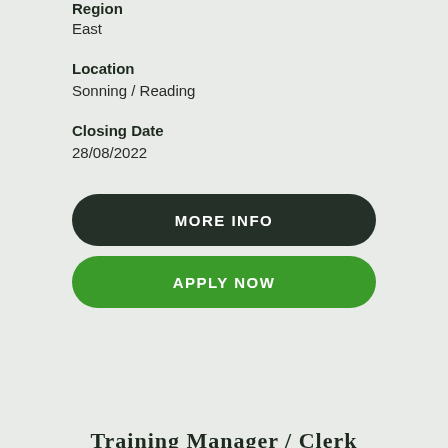Region
East
Location
Sonning / Reading
Closing Date
28/08/2022
MORE INFO
APPLY NOW
[Figure (logo): Majestic Careers logo with hop icon]
Training Manager / Clerk